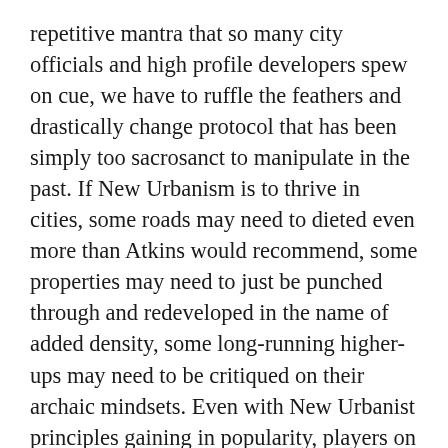repetitive mantra that so many city officials and high profile developers spew on cue, we have to ruffle the feathers and drastically change protocol that has been simply too sacrosanct to manipulate in the past. If New Urbanism is to thrive in cities, some roads may need to dieted even more than Atkins would recommend, some properties may need to just be punched through and redeveloped in the name of added density, some long-running higher-ups may need to be critiqued on their archaic mindsets. Even with New Urbanist principles gaining in popularity, players on both sides of the private/public gaming table need to start getting comfortable with being uncomfortable.
Closing Washington Avenue to traffic and dramatically reducing parking was